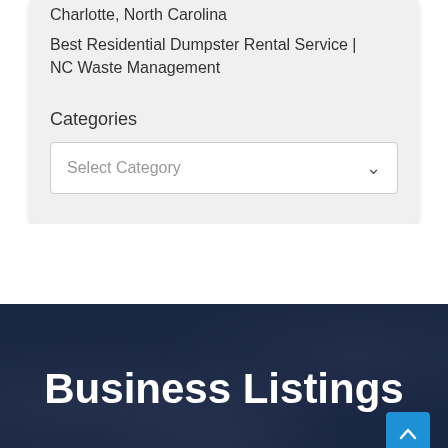Charlotte, North Carolina
Best Residential Dumpster Rental Service | NC Waste Management
Categories
Select Category
Business Listings